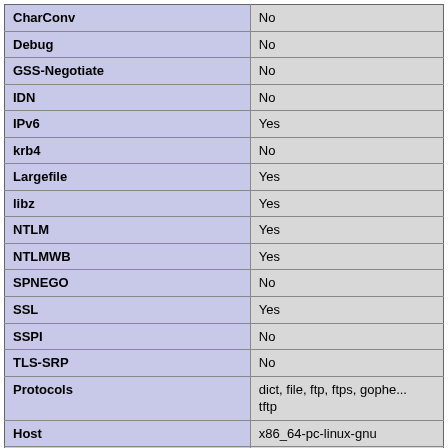| CharConv | No |
| Debug | No |
| GSS-Negotiate | No |
| IDN | No |
| IPv6 | Yes |
| krb4 | No |
| Largefile | Yes |
| libz | Yes |
| NTLM | Yes |
| NTLMWB | Yes |
| SPNEGO | No |
| SSL | Yes |
| SSPI | No |
| TLS-SRP | No |
| Protocols | dict, file, ftp, ftps, gophe... tftp |
| Host | x86_64-pc-linux-gnu |
| SSL Version | OpenSSL/1.0.2k-fips |
| ZLib Version | 1.2.7 |